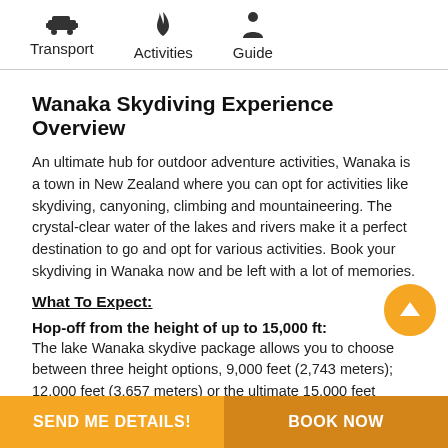Transport  Activities  Guide
Wanaka Skydiving Experience Overview
An ultimate hub for outdoor adventure activities, Wanaka is a town in New Zealand where you can opt for activities like skydiving, canyoning, climbing and mountaineering. The crystal-clear water of the lakes and rivers make it a perfect destination to go and opt for various activities. Book your skydiving in Wanaka now and be left with a lot of memories.
What To Expect:
Hop-off from the height of up to 15,000 ft:
The lake Wanaka skydive package allows you to choose between three height options, 9,000 feet (2,743 meters); 12,000 feet (3,657 meters) or the ultimate 15,000 feet (4,572 meters). Choose what is best for you and jump from a height you will get thrilled with.
SEND ME DETAILS!   BOOK NOW